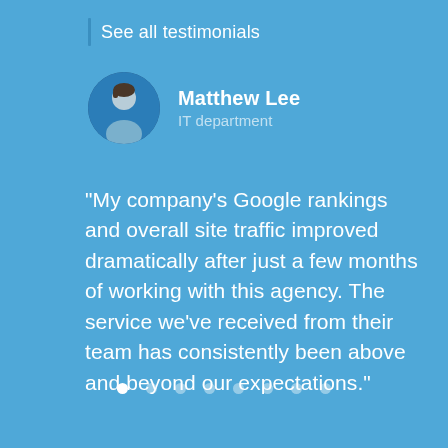See all testimonials
[Figure (illustration): Circular avatar illustration of a person (Matthew Lee) with dark blue background, showing a silhouette figure with brown hair]
Matthew Lee
IT department
"My company's Google rankings and overall site traffic improved dramatically after just a few months of working with this agency. The service we've received from their team has consistently been above and beyond our expectations."
[Figure (infographic): Pagination dots: 8 dots in a row, first dot filled white (active), remaining 7 semi-transparent]